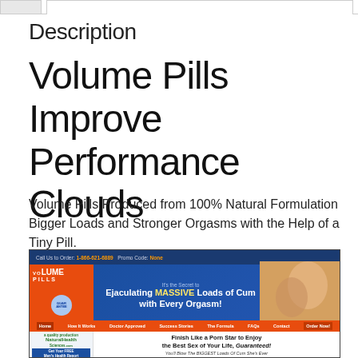Description
Volume Pills Improve Performance Clouds
Volume Pills Produced from 100% Natural Formulation Bigger Loads and Stronger Orgasms with the Help of a Tiny Pill.
[Figure (screenshot): Advertisement screenshot for Volume Pills website showing product branding, phone number 1-866-621-6889, promo code None, headline about ejaculating massive loads, navigation bar with Home/How It Works/Doctor Approved/Success Stories/The Formula/FAQs/Contact/Order Now, NaturalHealth Sciences logo, Get Your FREE Men's Health Report button, and right-side content about finishing like a porn star with guarantees.]